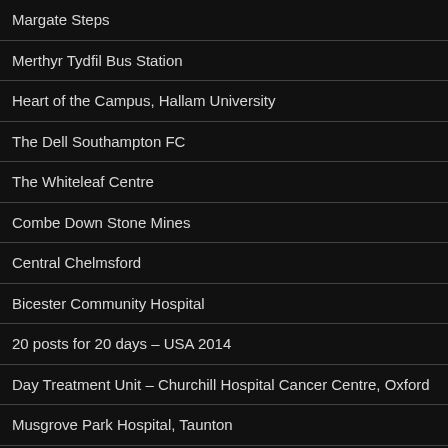Margate Steps
Merthyr Tydfil Bus Station
Heart of the Campus, Hallam University
The Dell Southampton FC
The Whiteleaf Centre
Combe Down Stone Mines
Central Chelmsford
Bicester Community Hospital
20 posts for 20 days – USA 2014
Day Treatment Unit – Churchill Hospital Cancer Centre, Oxford
Musgrove Park Hospital, Taunton
Central Concourse Jubilee Building
Murmuration – Jubilee Building